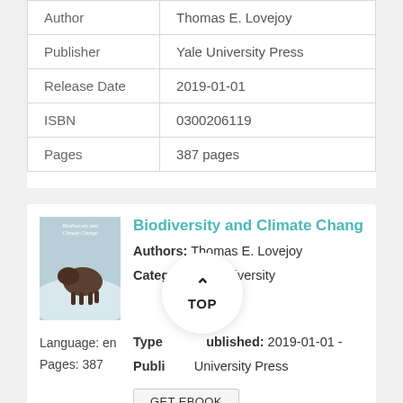|  |  |
| --- | --- |
| Author | Thomas E. Lovejoy |
| Publisher | Yale University Press |
| Release Date | 2019-01-01 |
| ISBN | 0300206119 |
| Pages | 387 pages |
[Figure (illustration): Book cover of 'Biodiversity and Climate Change' showing a bison in a snowy landscape with light blue sky]
Biodiversity and Climate Change
Authors: Thomas E. Lovejoy
Categories: Biodiversity
Language: en
Pages: 387
Type Published: 2019-01-01 -
Publisher: Yale University Press
GET EBOOK